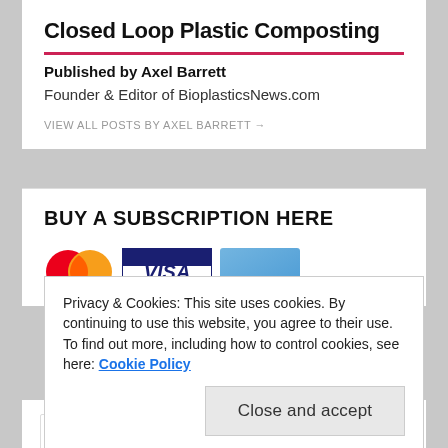Closed Loop Plastic Composting
Published by Axel Barrett
Founder & Editor of BioplasticsNews.com
VIEW ALL POSTS BY AXEL BARRETT →
BUY A SUBSCRIPTION HERE
[Figure (logo): Payment method logos: Mastercard, Visa, and American Express partially visible]
Privacy & Cookies: This site uses cookies. By continuing to use this website, you agree to their use.
To find out more, including how to control cookies, see here: Cookie Policy
Close and accept
Email